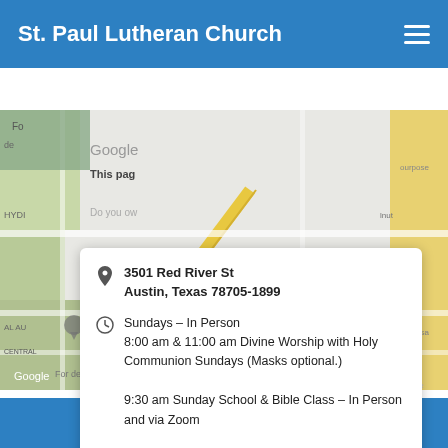St. Paul Lutheran Church
August 28, 2022
[Figure (map): Google Maps screenshot showing area around 3501 Red River St, Austin TX. Shows street map with location pin marker, road labels, and Google watermark.]
3501 Red River St
Austin, Texas 78705-1899
Sundays – In Person
8:00 am & 11:00 am Divine Worship with Holy Communion Sundays (Masks optional.)

9:30 am Sunday School & Bible Class – In Person and via Zoom

Wednesdays
4:00 pm Bible Study – In-Person and via Zoom
6:00 pm Evening Prayer Service &